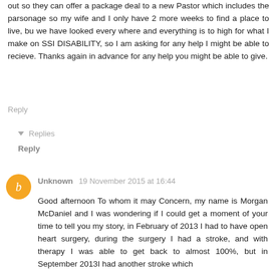out so they can offer a package deal to a new Pastor which includes the parsonage so my wife and I only have 2 more weeks to find a place to live, bu we have looked every where and everything is to high for what I make on SSI DISABILITY, so I am asking for any help I might be able to recieve. Thanks again in advance for any help you might be able to give.
Reply
▼ Replies
Reply
Unknown 19 November 2015 at 16:44
Good afternoon To whom it may Concern, my name is Morgan McDaniel and I was wondering if I could get a moment of your time to tell you my story, in February of 2013 I had to have open heart surgery, during the surgery I had a stroke, and with therapy I was able to get back to almost 100%, but in September 2013I had another stroke which...